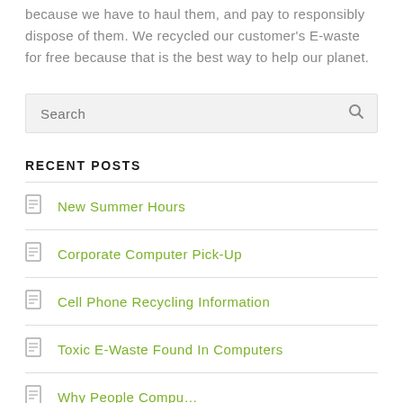because we have to haul them, and pay to responsibly dispose of them. We recycled our customer's E-waste for free because that is the best way to help our planet.
Search
RECENT POSTS
New Summer Hours
Corporate Computer Pick-Up
Cell Phone Recycling Information
Toxic E-Waste Found In Computers
Why People Compu...